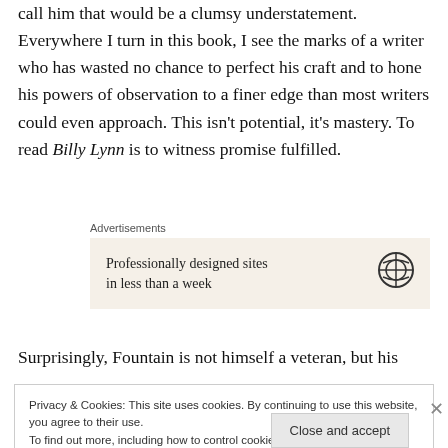call him that would be a clumsy understatement. Everywhere I turn in this book, I see the marks of a writer who has wasted no chance to perfect his craft and to hone his powers of observation to a finer edge than most writers could even approach. This isn't potential, it's mastery. To read Billy Lynn is to witness promise fulfilled.
[Figure (other): Advertisement box with beige background. Text: 'Professionally designed sites in less than a week'. WordPress logo on the right.]
Surprisingly, Fountain is not himself a veteran, but his
Privacy & Cookies: This site uses cookies. By continuing to use this website, you agree to their use. To find out more, including how to control cookies, see here: Cookie Policy